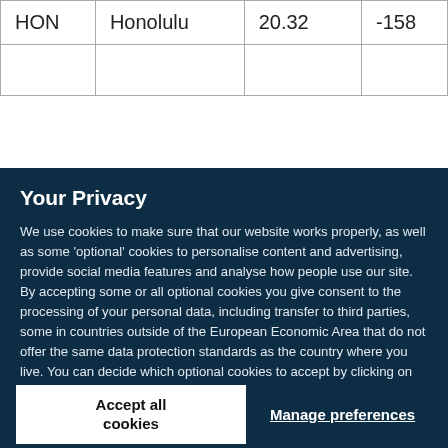| HON | Honolulu | 20.32 | -158 |
Your Privacy
We use cookies to make sure that our website works properly, as well as some 'optional' cookies to personalise content and advertising, provide social media features and analyse how people use our site. By accepting some or all optional cookies you give consent to the processing of your personal data, including transfer to third parties, some in countries outside of the European Economic Area that do not offer the same data protection standards as the country where you live. You can decide which optional cookies to accept by clicking on 'Manage Settings', where you can also find more information about how your personal data is processed. Further information can be found in our privacy policy.
Accept all cookies
Manage preferences